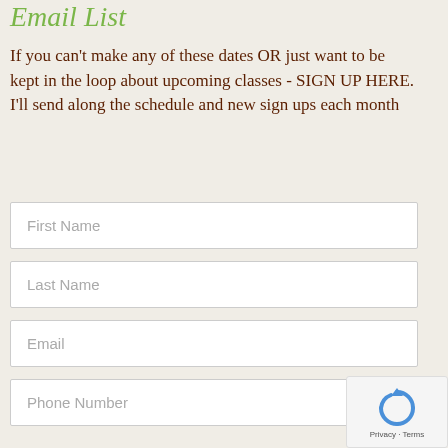Email List
If you can't make any of these dates OR just want to be kept in the loop about upcoming classes - SIGN UP HERE. I'll send along the schedule and new sign ups each month
First Name
Last Name
Email
Phone Number
[Figure (other): reCAPTCHA badge with circular arrow icon and Privacy - Terms text]